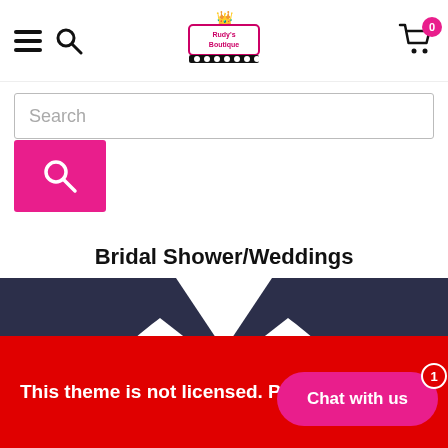Navigation header with hamburger menu, search icon, boutique logo, and cart (0)
[Figure (screenshot): Search input bar with placeholder text 'Search' and a pink search button below]
Bridal Shower/Weddings
[Figure (photo): Dark navy blue v-neck sweatshirt/top with rhinestone text 'Broadway' on the front]
This theme is not licensed. Plea...se
[Figure (other): Pink 'Chat with us' button with red badge showing number 1]